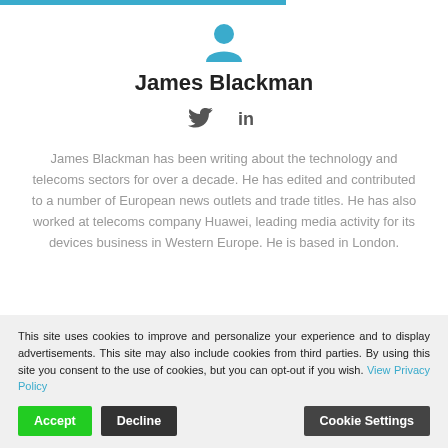[Figure (illustration): Teal/blue person silhouette icon centered at top]
James Blackman
[Figure (illustration): Twitter bird icon and LinkedIn 'in' icon side by side]
James Blackman has been writing about the technology and telecoms sectors for over a decade. He has edited and contributed to a number of European news outlets and trade titles. He has also worked at telecoms company Huawei, leading media activity for its devices business in Western Europe. He is based in London.
This site uses cookies to improve and personalize your experience and to display advertisements. This site may also include cookies from third parties. By using this site you consent to the use of cookies, but you can opt-out if you wish. View Privacy Policy